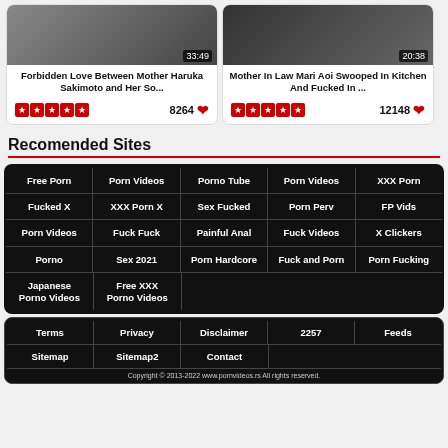[Figure (screenshot): Video thumbnail for Forbidden Love Between Mother Haruka Sakimoto with duration 33:49]
Forbidden Love Between Mother Haruka Sakimoto and Her So...
8264 ♥
[Figure (screenshot): Video thumbnail for Mother In Law Mari Aoi Swooped In Kitchen And Fucked In with duration 20:38]
Mother In Law Mari Aoi Swooped In Kitchen And Fucked In ...
12148 ♥
Recomended Sites
Free Porn
Porn Videos
Porno Tube
Porn Videos
XXX Porn
Fucked X
XXX Porn X
Sex Fucked
Porn Perv
FP Vids
Porn Videos
Fuck Fuck
Painful Anal
Fuck Videos
X Clickers
Porno
Sex 2021
Porn Hardcore
Fuck and Porn
Porn Fucking
Japanese Porno Videos
Free XXX Porno Videos
Terms | Privacy | Disclaimer | 2257 | Feeds | Sitemap | Sitemap2 | Contact
Copyright © 2013-2022 www.pornvideos.rs All rights reserved.